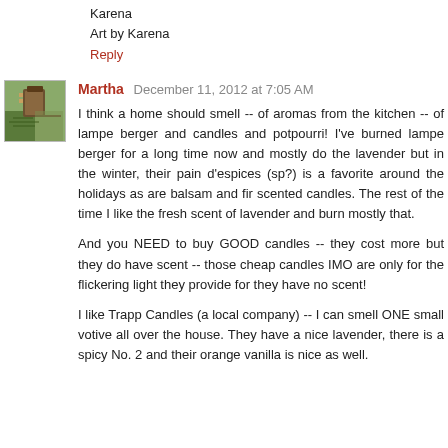Karena
Art by Karena
Reply
Martha  December 11, 2012 at 7:05 AM
I think a home should smell -- of aromas from the kitchen -- of lampe berger and candles and potpourri! I've burned lampe berger for a long time now and mostly do the lavender but in the winter, their pain d'espices (sp?) is a favorite around the holidays as are balsam and fir scented candles. The rest of the time I like the fresh scent of lavender and burn mostly that.
And you NEED to buy GOOD candles -- they cost more but they do have scent -- those cheap candles IMO are only for the flickering light they provide for they have no scent!
I like Trapp Candles (a local company) -- I can smell ONE small votive all over the house. They have a nice lavender, there is a spicy No. 2 and their orange vanilla is nice as well.